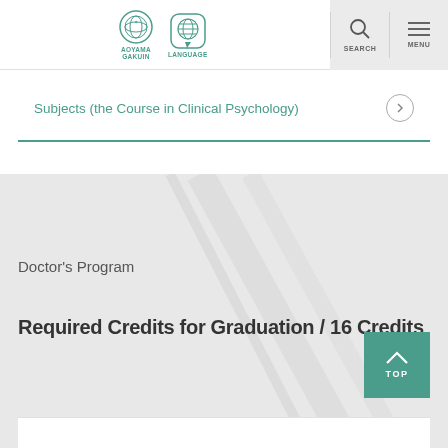[Figure (logo): Aoyama Gakuin university logo with circular crest and globe/language icons]
Subjects (the Course in Clinical Psychology)
Doctor's Program
Required Credits for Graduation / 16 Credits